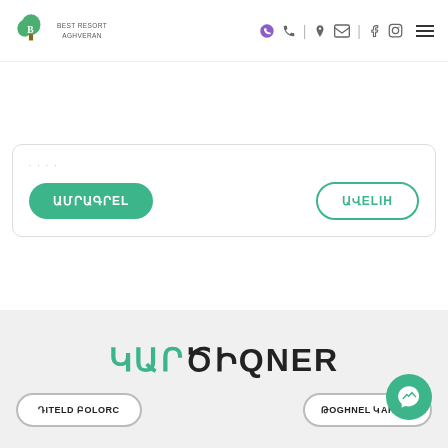[Figure (logo): Best Resort Aghveran logo with green tree and stylized B letter]
Best Resort Aghveran - navigation header with icons: Viber, phone, location, email, Facebook, Instagram, hamburger menu
ԱՄՐԱԳՐԵԼ
ԱՎԵԼIN
ԿԱՐԾԻՔNER
ԴԻՏEL ԲՈԼՈՐC
ԹՈՂՆEL ԿARԾIQ